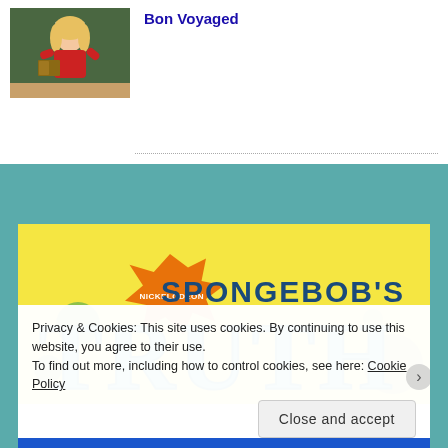[Figure (photo): Thumbnail image of a woman (teacher) in a red top standing in front of a chalkboard holding a book]
Bon Voyaged
[Figure (screenshot): SpongeBob's Truth or Square Nickelodeon banner image with yellow background, teal/blue lettering spelling 'TRUTH', orange Nickelodeon splat logo, and green bubble decorations]
Privacy & Cookies: This site uses cookies. By continuing to use this website, you agree to their use.
To find out more, including how to control cookies, see here: Cookie Policy
Close and accept